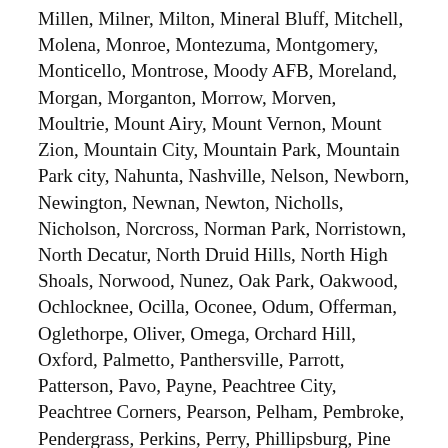Millen, Milner, Milton, Mineral Bluff, Mitchell, Molena, Monroe, Montezuma, Montgomery, Monticello, Montrose, Moody AFB, Moreland, Morgan, Morganton, Morrow, Morven, Moultrie, Mount Airy, Mount Vernon, Mount Zion, Mountain City, Mountain Park, Mountain Park city, Nahunta, Nashville, Nelson, Newborn, Newington, Newnan, Newton, Nicholls, Nicholson, Norcross, Norman Park, Norristown, North Decatur, North Druid Hills, North High Shoals, Norwood, Nunez, Oak Park, Oakwood, Ochlocknee, Ocilla, Oconee, Odum, Offerman, Oglethorpe, Oliver, Omega, Orchard Hill, Oxford, Palmetto, Panthersville, Parrott, Patterson, Pavo, Payne, Peachtree City, Peachtree Corners, Pearson, Pelham, Pembroke, Pendergrass, Perkins, Perry, Phillipsburg, Pine Lake, Pine Mountain, Pinehurst, Pineview, Pitts, Plains, Plainville, Pooler, Port Wentworth, Portal, Porterdale, Poulan, Powder Springs, Pulaski, Putney, Quitman, Ranger, Raoul,